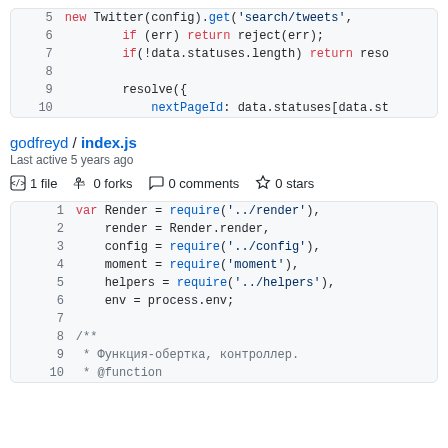[Figure (screenshot): Code block showing lines 5-10 of a JavaScript file with syntax highlighting]
godfreyd / index.js
Last active 5 years ago
1 file   0 forks   0 comments   0 stars
[Figure (screenshot): Code block showing lines 1-10 of index.js with syntax highlighting, including var declarations and JSDoc comment]